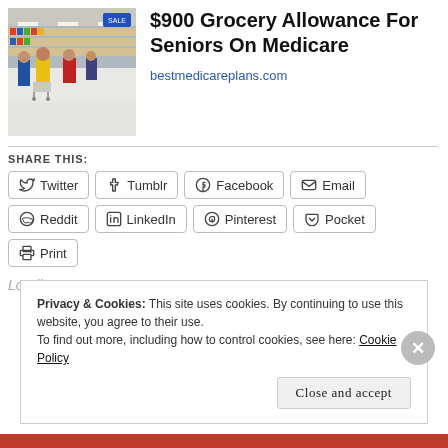[Figure (photo): Photo of a grocery store interior showing shoppers with carts in aisles]
$900 Grocery Allowance For Seniors On Medicare
bestmedicareplans.com
SHARE THIS:
Twitter  Tumblr  Facebook  Email  Reddit  LinkedIn  Pinterest  Pocket  Print
Loading...
Privacy & Cookies: This site uses cookies. By continuing to use this website, you agree to their use.
To find out more, including how to control cookies, see here: Cookie Policy
Close and accept